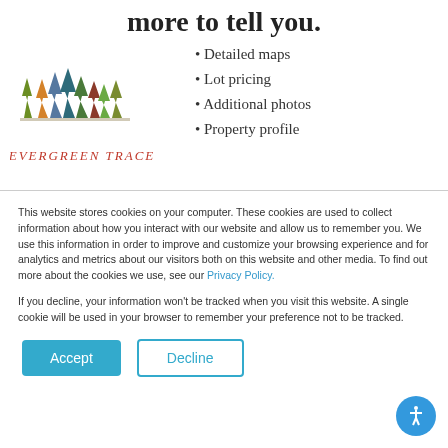more to tell you.
[Figure (logo): Evergreen Trace logo with colorful trees illustration and text 'EVERGREEN TRACE']
Detailed maps
Lot pricing
Additional photos
Property profile
This website stores cookies on your computer. These cookies are used to collect information about how you interact with our website and allow us to remember you. We use this information in order to improve and customize your browsing experience and for analytics and metrics about our visitors both on this website and other media. To find out more about the cookies we use, see our Privacy Policy.
If you decline, your information won't be tracked when you visit this website. A single cookie will be used in your browser to remember your preference not to be tracked.